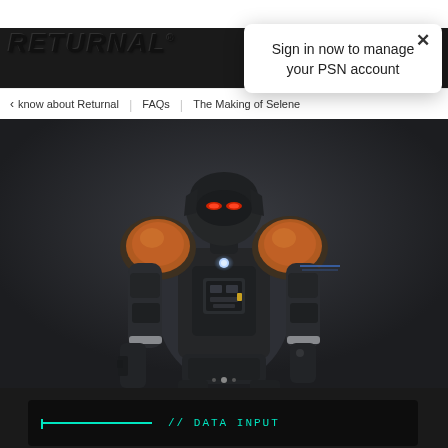[Figure (screenshot): Screenshot of the Returnal PlayStation website showing a white navigation bar at the top, the stylized RETURNAL logo in bold italic black text, navigation tabs including 'know about Returnal', 'FAQs', and 'The Making of Selene', a popup dialog with an X close button and text 'Sign in now to manage your PSN account', a dark hero image showing an armored sci-fi character (Selene in combat suit) against a dark background, and at the bottom a dark panel with a teal/cyan horizontal line and the text '// DATA INPUT' in a monospace font.]